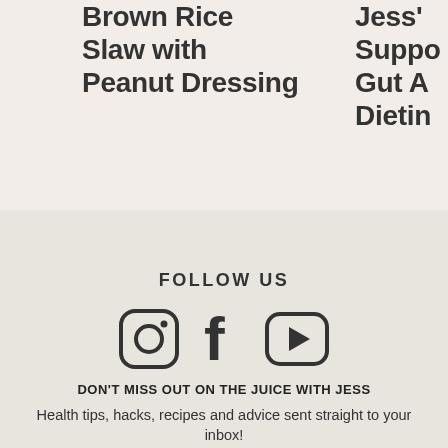Brown Rice Slaw with Peanut Dressing
Jess' Suppo Gut A Dietin
FOLLOW US
[Figure (infographic): Three social media icons: Instagram (camera icon in rounded square), Facebook (f icon), YouTube (play button in rounded rectangle)]
DON'T MISS OUT ON THE JUICE WITH JESS
Health tips, hacks, recipes and advice sent straight to your inbox!